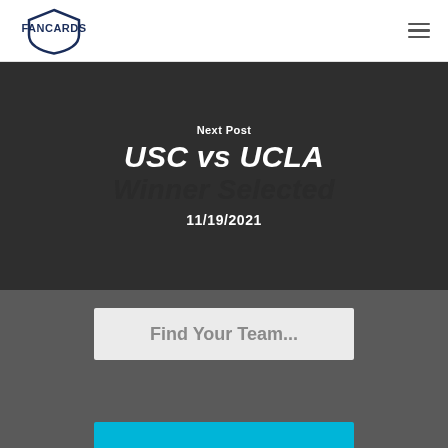FANCARDS
Next Post
USC vs UCLA
Winner Selected
11/19/2021
Find Your Team...